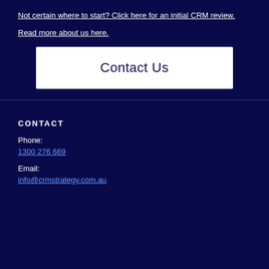Not certain where to start? Click here for an initial CRM review.
Read more about us here.
Contact Us
CONTACT
Phone:
1300 276 669
Email:
info@crmstrategy.com.au